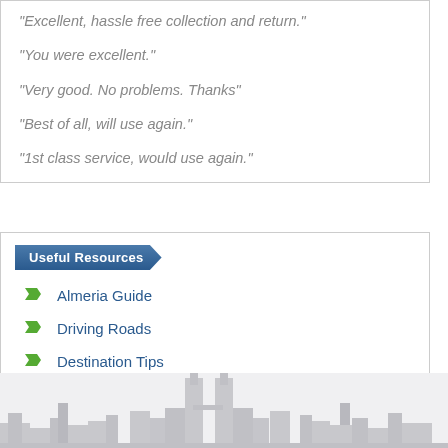"Excellent, hassle free collection and return."
"You were excellent."
"Very good. No problems. Thanks"
"Best of all, will use again."
"1st class service, would use again."
Useful Resources
Almeria Guide
Driving Roads
Destination Tips
Places To Stay
[Figure (illustration): City skyline silhouette in light grey tones]